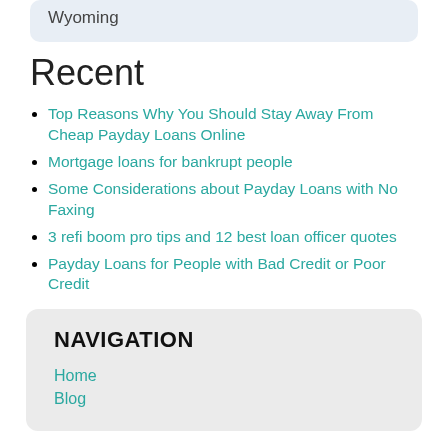Wyoming
Recent
Top Reasons Why You Should Stay Away From Cheap Payday Loans Online
Mortgage loans for bankrupt people
Some Considerations about Payday Loans with No Faxing
3 refi boom pro tips and 12 best loan officer quotes
Payday Loans for People with Bad Credit or Poor Credit
NAVIGATION
Home
Blog